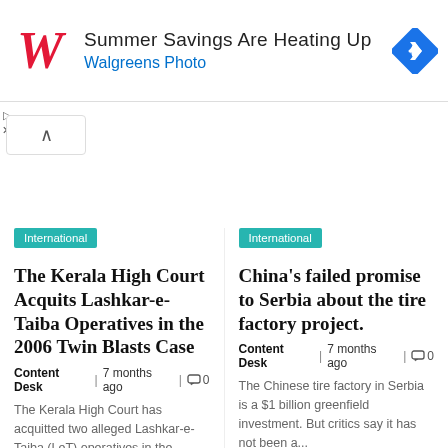[Figure (screenshot): Walgreens ad banner: red cursive W logo, text 'Summer Savings Are Heating Up' and 'Walgreens Photo' in blue, blue diamond navigation icon on right]
Summer Savings Are Heating Up
Walgreens Photo
[Figure (screenshot): Small up-chevron scroll button]
International
The Kerala High Court Acquits Lashkar-e-Taiba Operatives in the 2006 Twin Blasts Case
Content Desk |7 months ago |0
The Kerala High Court has acquitted two alleged Lashkar-e-Taiba (LeT) operatives in the
International
China's failed promise to Serbia about the tire factory project.
Content Desk |7 months ago |0
The Chinese tire factory in Serbia is a $1 billion greenfield investment. But critics say it has not been a...